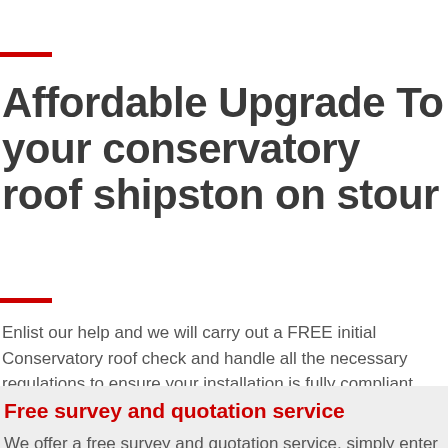Affordable Upgrade To your conservatory roof shipston on stour
Enlist our help and we will carry out a FREE initial Conservatory roof check and handle all the necessary regulations to ensure your installation is fully compliant.
Free survey and quotation service
We offer a free survey and quotation service, simply enter your details below and send.